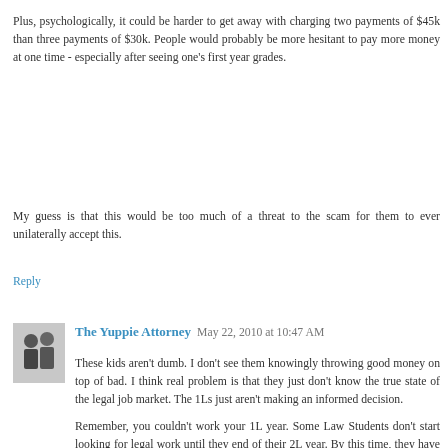Plus, psychologically, it could be harder to get away with charging two payments of $45k than three payments of $30k. People would probably be more hesitant to pay more money at one time - especially after seeing one's first year grades.
My guess is that this would be too much of a threat to the scam for them to ever unilaterally accept this.
Reply
The Yuppie Attorney May 22, 2010 at 10:47 AM
These kids aren't dumb. I don't see them knowingly throwing good money on top of bad. I think real problem is that they just don't know the true state of the legal job market. The 1Ls just aren't making an informed decision.
Remember, you couldn't work your 1L year. Some Law Students don't start looking for legal work until they end of their 2L year. By this time, they have already invested four semesters into the degree. IF during their 1L year they